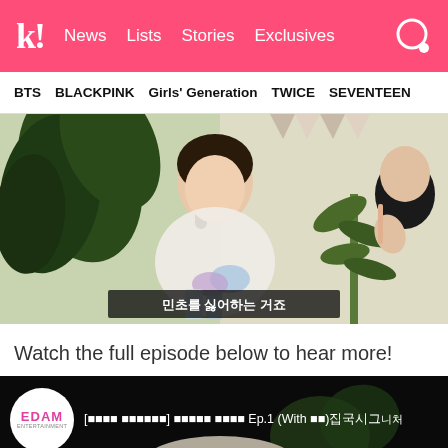k! News Lists Stories Exclusives
BTS   BLACKPINK   Girls' Generation   TWICE   SEVENTEEN
[Figure (screenshot): Video still of a young woman in a light floral top sitting indoors with tropical plants, with Korean subtitle text '민초를 싫어하는 거죠' overlaid at the bottom]
Watch the full episode below to hear more!
[Figure (screenshot): YouTube video embed with EDAM Entertainment logo and Korean video title text including 'Ep.1 (With IU)' and '집콕시그니처']